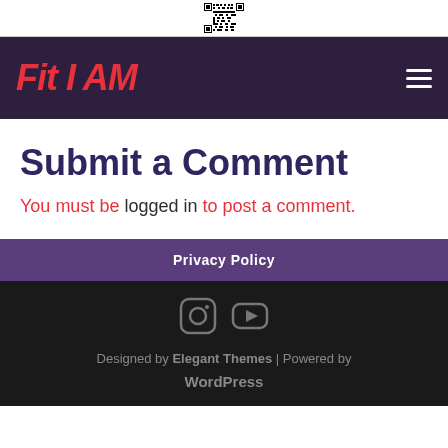[Figure (other): QR code partial at top of page]
Fit I AM — site navigation header with hamburger menu
Submit a Comment
You must be logged in to post a comment.
Privacy Policy
Designed by Elegant Themes | Powered by WordPress